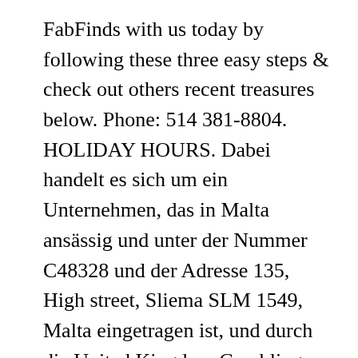FabFinds with us today by following these three easy steps & check out others recent treasures below. Phone: 514 381-8804. HOLIDAY HOURS. Dabei handelt es sich um ein Unternehmen, das in Malta ansässig und unter der Nummer C48328 und der Adresse 135, High street, Sliema SLM 1549, Malta eingetragen ist, und durch die United Kingdom Gambling Commission (Remote-Spiellizenz Nummer 000-039483-R-319409-001). Winners outlet store in Marché Central, address and location: Montréal, Quebec – 8701-9197 Boulevard de l'Acadie, Montréal, QC H4N 3K1, Canada. 73 likes. Read the news. Doṅt forget to write review about your visit at Winners in Marché Central. Check out ... Wir sind der Meinung...